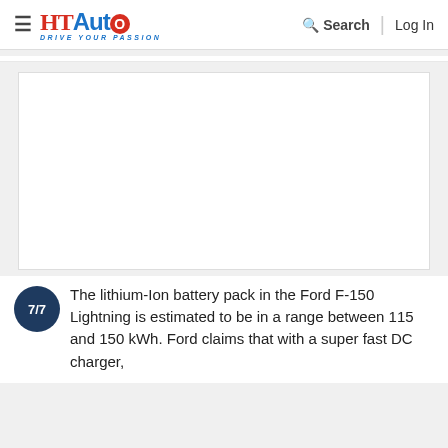HT Auto - Drive Your Passion | Search | Log In
[Figure (photo): Empty white image placeholder box for Ford F-150 Lightning article]
7/7 The lithium-Ion battery pack in the Ford F-150 Lightning is estimated to be in a range between 115 and 150 kWh. Ford claims that with a super fast DC charger,